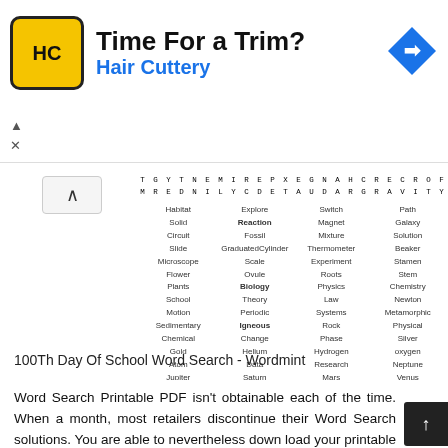[Figure (advertisement): Hair Cuttery advertisement banner with yellow HC logo and blue diamond navigation icon]
[Figure (other): Word search puzzle grid with letters and word list for science vocabulary including Habitat, Solid, Circuit, Slide, Microscope, Flower, Plants, School, Motion, Sedimentary, Chemical, Gold, Atom, Jupiter, Moon, Potential, Energy, Explore, Reaction, Fossil, GraduatedCylinder, Scale, Ovule, Biology, Theory, Periodic, Igneous, Change, Helium, Data, Saturn, Earth, Kinetic, Force, Switch, Magnet, Mixture, Thermometer, Experiment, Roots, Physics, Law, Systems, Rock, Phase, Hydrogen, Research, Mars, Sun, Gravity, Science, Path, Galaxy, Solution, Beaker, Stamen, Stem, Chemistry, Newton, Metamorphic, Physical, Silver, oxygen, Neptune, Venus, Proton, Electricity, Space]
100Th Day Of School Word Search - Wordmint
Word Search Printable PDF isn't obtainable each of the time. When a month, most retailers discontinue their Word Search solutions. You are able to nevertheless down load your printable Word Search PDFs for potential use.